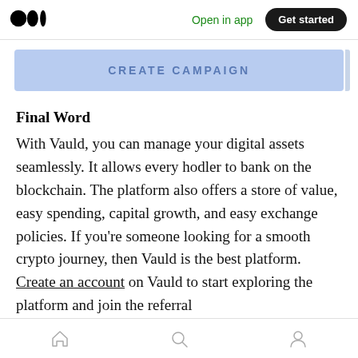Medium logo | Open in app | Get started
[Figure (screenshot): A blue button labeled CREATE CAMPAIGN]
Final Word
With Vauld, you can manage your digital assets seamlessly. It allows every hodler to bank on the blockchain. The platform also offers a store of value, easy spending, capital growth, and easy exchange policies. If you're someone looking for a smooth crypto journey, then Vauld is the best platform. Create an account on Vauld to start exploring the platform and join the referral
Home | Search | Profile icons